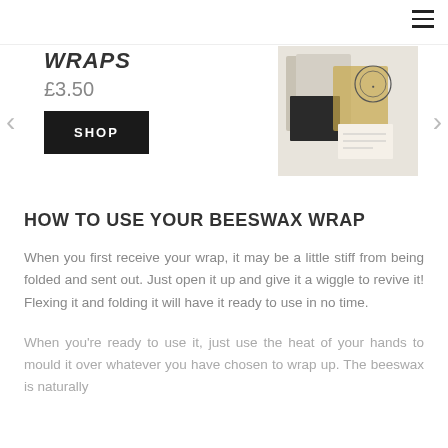Navigation bar with hamburger menu
WRAPS
£3.50
SHOP
[Figure (photo): Product photo showing beeswax wraps in fabric packaging with circular logo stamp and product card]
HOW TO USE YOUR BEESWAX WRAP
When you first receive your wrap, it may be a little stiff from being folded and sent out. Just open it up and give it a wiggle to revive it! Flexing it and folding it will have it ready to use in no time.
When you're ready to use it, just use the heat of your hands to mould it over whatever you have chosen to wrap up. The beeswax is naturally